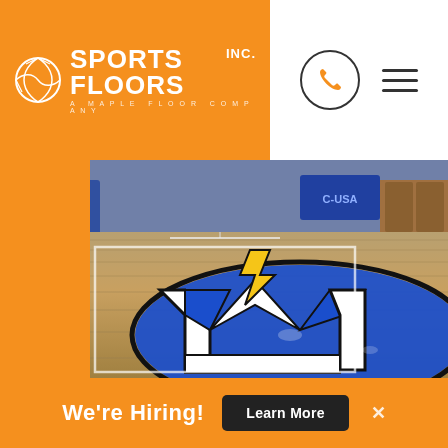[Figure (logo): Sports Floors Inc. logo with basketball icon on orange background]
[Figure (photo): Indoor sports gymnasium with hardwood maple flooring featuring a large blue and white collegiate logo (Memphis Tigers or similar) painted at center court, with C-USA signage visible in background]
We're Hiring!
Learn More
×